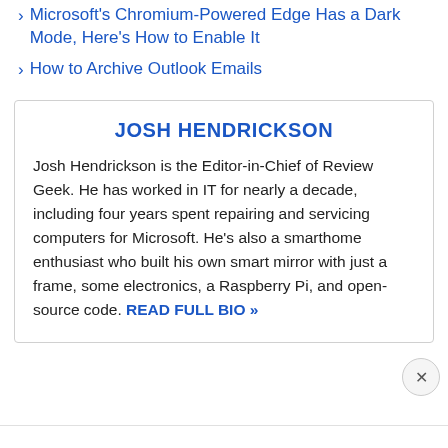› Microsoft's Chromium-Powered Edge Has a Dark Mode, Here's How to Enable It
› How to Archive Outlook Emails
JOSH HENDRICKSON
Josh Hendrickson is the Editor-in-Chief of Review Geek. He has worked in IT for nearly a decade, including four years spent repairing and servicing computers for Microsoft. He's also a smarthome enthusiast who built his own smart mirror with just a frame, some electronics, a Raspberry Pi, and open-source code. READ FULL BIO »